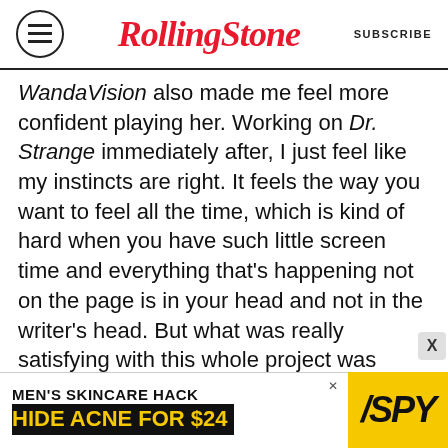RollingStone | SUBSCRIBE
WandaVision also made me feel more confident playing her. Working on Dr. Strange immediately after, I just feel like my instincts are right. It feels the way you want to feel all the time, which is kind of hard when you have such little screen time and everything that's happening not on the page is in your head and not in the writer's head. But what was really satisfying with this whole project was when Jac was pitching it to me, it was as if the the answers that I had in my head just as an actress somehow magically made it to her brain without me having to verbalize them to her.
As the show aired, its stars realized they were also fans.
[Figure (other): Advertisement banner: MEN'S SKINCARE HACK HIDE ACNE FOR $24 with SPY logo]